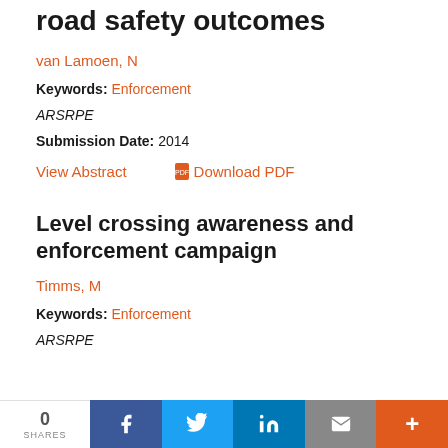road safety outcomes
van Lamoen, N
Keywords: Enforcement
ARSRPE
Submission Date: 2014
View Abstract   Download PDF
Level crossing awareness and enforcement campaign
Timms, M
Keywords: Enforcement
ARSRPE
0 SHARES   f   t   in   mail   +